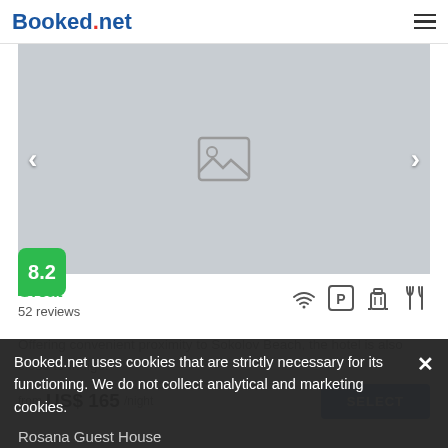Booked.net
[Figure (photo): Gray placeholder image area with image icon in center, left and right navigation arrows]
8.2
Great
52 reviews
Offering convenient proximity to Sokolov Beach, the hotel is also close to Indigo.
from US$ 165/night
SELECT
Booked.net uses cookies that are strictly necessary for its functioning. We do not collect analytical and marketing cookies.
Rosana Guest House